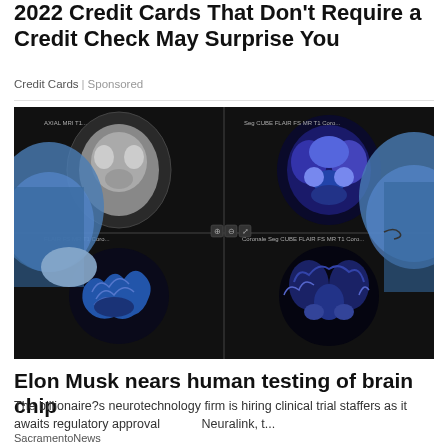2022 Credit Cards That Don't Require a Credit Check May Surprise You
Credit Cards | Sponsored
[Figure (photo): Two medical professionals in surgical masks and caps viewing brain MRI/CT scan images on a dark monitor showing four scan views — axial grayscale, axial colorized, sagittal colorized, and coronal colorized brain scans]
Elon Musk nears human testing of brain chip
The billionaire?s neurotechnology firm is hiring clinical trial staffers as it awaits regulatory approval          Neuralink, t...
SacramentoNews